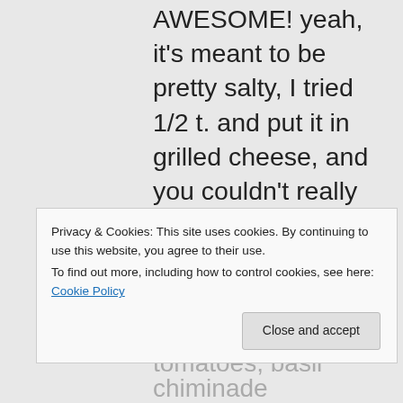AWESOME! yeah, it's meant to be pretty salty, I tried 1/2 t. and put it in grilled cheese, and you couldn't really taste it. But please feel free to adjust it however you like. It behaves like melted cheese until you cook it on the pizza, so yeah, you really need to put it on something and brown it or grill it. It's not as
Privacy & Cookies: This site uses cookies. By continuing to use this website, you agree to their use.
To find out more, including how to control cookies, see here: Cookie Policy
tomatoes, basil chiminade